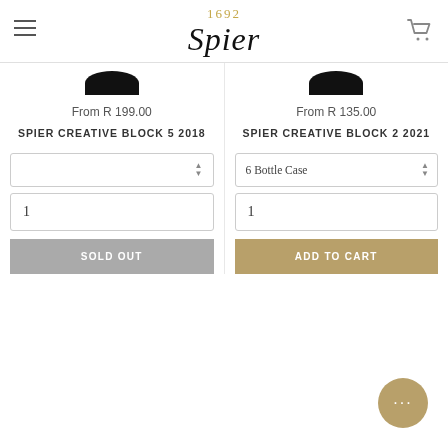[Figure (logo): Spier 1692 logo in script font with gold '1692' above and black cursive 'Spier' below]
From R 199.00
SPIER CREATIVE BLOCK 5 2018
From R 135.00
SPIER CREATIVE BLOCK 2 2021
6 Bottle Case
1
1
SOLD OUT
ADD TO CART